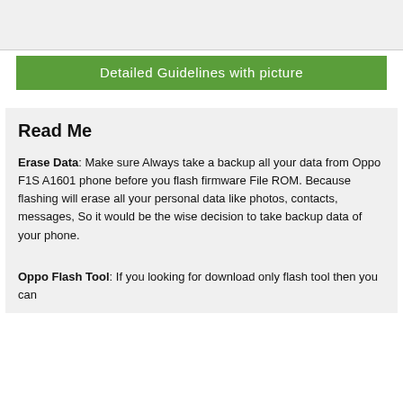Detailed Guidelines with picture
Read Me
Erase Data: Make sure Always take a backup all your data from Oppo F1S A1601 phone before you flash firmware File ROM. Because flashing will erase all your personal data like photos, contacts, messages, So it would be the wise decision to take backup data of your phone.
Oppo Flash Tool: If you looking for download only flash tool then you can